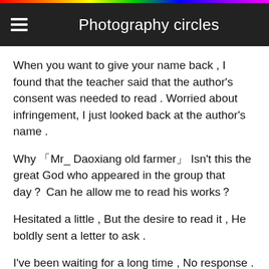Photography circles
When you want to give your name back , I found that the teacher said that the author's consent was needed to read . Worried about infringement, I just looked back at the author's name .
Why 「Mr_ Daoxiang old farmer」Isn't this the great God who appeared in the group that day？Can he allow me to read his works？
Hesitated a little , But the desire to read it , He boldly sent a letter to ask .
I've been waiting for a long time , No response .
The activity will start in a few hours , When I was wondering if I wanted to find my own words to make up the count , He replied to me！